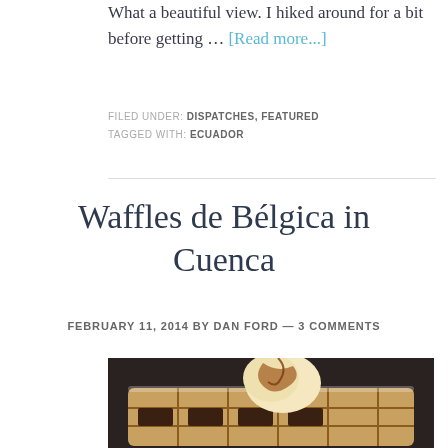What a beautiful view. I hiked around for a bit before getting … [Read more...]
FILED UNDER: DISPATCHES, FEATURED
TAGGED WITH: ECUADOR
Waffles de Bélgica in Cuenca
FEBRUARY 11, 2014 BY DAN FORD — 3 COMMENTS
[Figure (photo): Close-up photo of a Belgian waffle topped with ice cream and chocolate sauce on a dark plate]